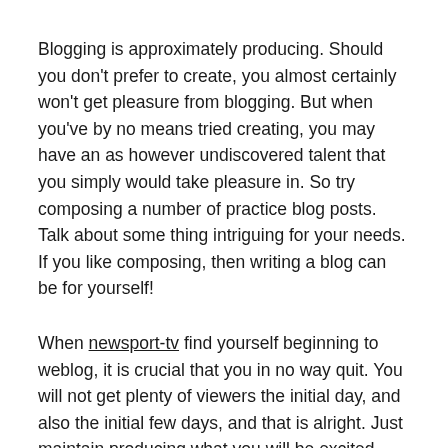Blogging is approximately producing. Should you don't prefer to create, you almost certainly won't get pleasure from blogging. But when you've by no means tried creating, you may have an as however undiscovered talent that you simply would take pleasure in. So try composing a number of practice blog posts. Talk about some thing intriguing for your needs. If you like composing, then writing a blog can be for yourself!
When newsport-tv find yourself beginning to weblog, it is crucial that you in no way quit. You will not get plenty of viewers the initial day, and also the initial few days, and that is alright. Just maintain producing what you will be excited about, along with the followers will come to you.
Try composing for your personal visitors. Your blog is often individual, but in order to expand viewers of over